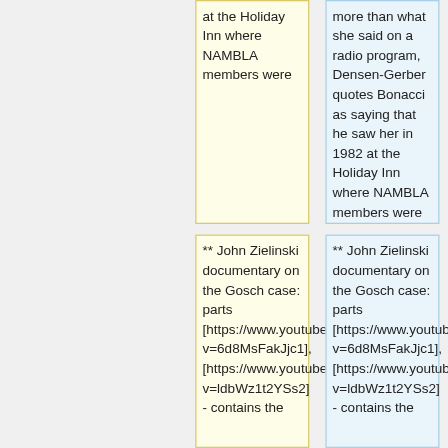at the Holiday Inn where NAMBLA members were
more than what she said on a radio program, Densen-Gerber quotes Bonacci as saying that he saw her in 1982 at the Holiday Inn where NAMBLA members were
** John Zielinski documentary on the Gosch case: parts [https://www.youtube.com/watch?v=6d8MsFakJjc1], [https://www.youtube.com/watch?v=ldbWz1t2YSs2] - contains the
** John Zielinski documentary on the Gosch case: parts [https://www.youtube.com/watch?v=6d8MsFakJjc1], [https://www.youtube.com/watch?v=ldbWz1t2YSs2] - contains the